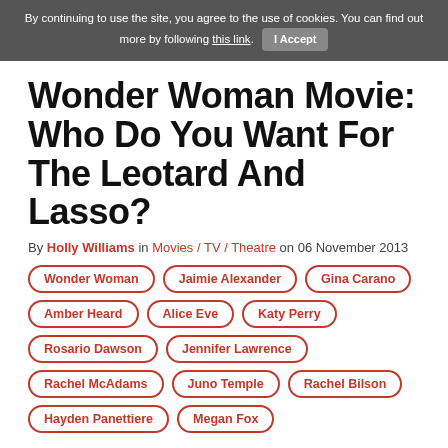By continuing to use the site, you agree to the use of cookies. You can find out more by following this link. I Accept
Wonder Woman Movie: Who Do You Want For The Leotard And Lasso?
By Holly Williams in Movies / TV / Theatre on 06 November 2013
Wonder Woman
Jaimie Alexander
Gina Carano
Amber Heard
Alice Eve
Katy Perry
Rosario Dawson
Jennifer Lawrence
Rachel McAdams
Juno Temple
Rachel Bilson
Hayden Panettiere
Megan Fox